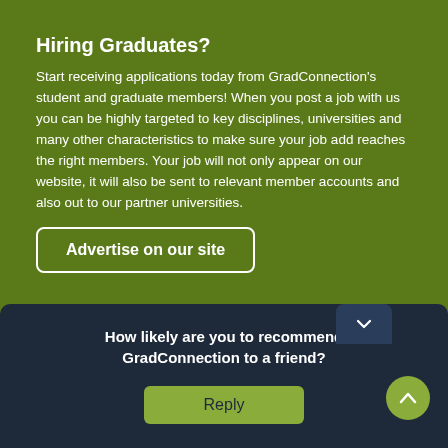Hiring Graduates?
Start receiving applications today from GradConnection's student and graduate members! When you post a job with us you can be highly targeted to key disciplines, universities and many other characteristics to make sure your job add reaches the right members. Your job will not only appear on our website, it will also be sent to relevant member accounts and also out to our partner universities.
Advertise on our site
L14, 100 Pacific Hwy, North Sydney
13 64 34
clients...
Terms...
© Gra...
How likely are you to recommend GradConnection to a friend?
Reply